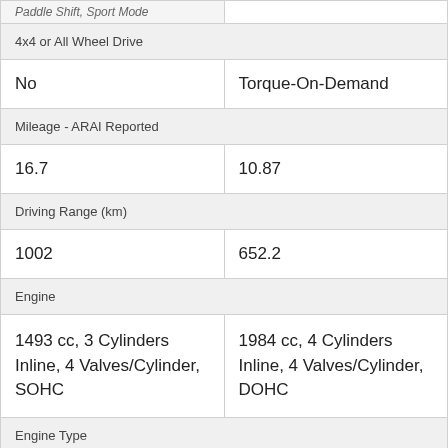| 4x4 or All Wheel Drive |  |
| No | Torque-On-Demand |
| Mileage - ARAI Reported |  |
| 16.7 | 10.87 |
| Driving Range (km) |  |
| 1002 | 652.2 |
| Engine |  |
| 1493 cc, 3 Cylinders Inline, 4 Valves/Cylinder, SOHC | 1984 cc, 4 Cylinders Inline, 4 Valves/Cylinder, DOHC |
| Engine Type |  |
| mHawk75 | 2.0L TSI |